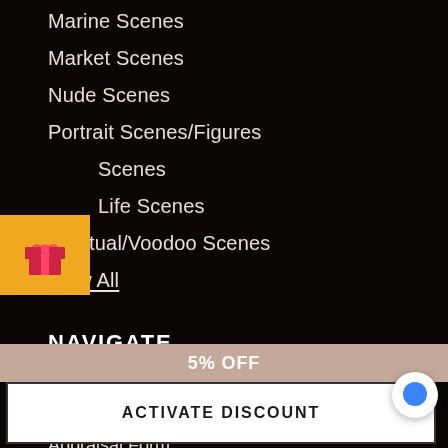Marine Scenes
Market Scenes
Nude Scenes
Portrait Scenes/Figures
Scenes
Life Scenes
Spiritual/Voodoo Scenes
View All
[Figure (illustration): Gift box icon badge in orange/gold background]
NAVIGATE
About Us
Appraisal Form
5% OFF
ACTIVATE DISCOUNT